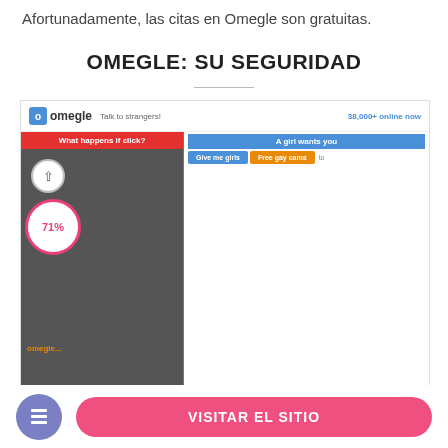Afortunadamente, las citas en Omegle son gratuitas.
OMEGLE: SU SEGURIDAD
[Figure (screenshot): Screenshot of the Omegle website interface showing the chat window with a red button 'What happens if click?', a blue notification 'A girl wants you', orange and blue buttons, a gray video panel with 71% circle indicator and omegle watermark, and 38,000+ online counter.]
[Figure (other): Purple icon circle with document/lines icon and pink rounded button 'VISITAR EL SITIO']